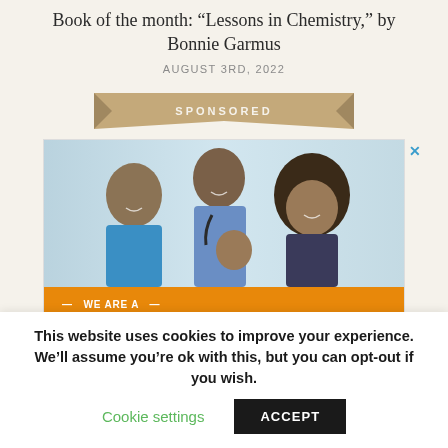Book of the month: “Lessons in Chemistry,” by Bonnie Garmus
AUGUST 3RD, 2022
SPONSORED
[Figure (photo): Advertisement photo showing a male doctor with stethoscope, a female nurse in blue scrubs, a woman with natural hair, and a baby. Orange bar at bottom reads 'WE ARE A' and partially visible text below.]
This website uses cookies to improve your experience. We’ll assume you’re ok with this, but you can opt-out if you wish.
Cookie settings
ACCEPT